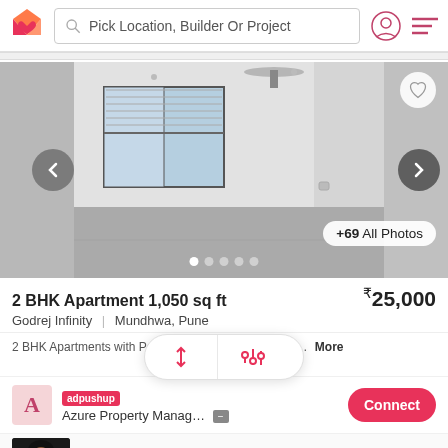Pick Location, Builder Or Project
[Figure (photo): Interior photo of an empty apartment room with white walls, a window, and a ceiling fan. Navigation arrows on left and right. Heart/favorite button top right. +69 All Photos button bottom right. Carousel dots at bottom.]
2 BHK Apartment 1,050 sq ft ₹25,000
Godrej Infinity | Mundhwa, Pune
2 BHK Apartments with Pa... undhwa Pune:... More
[Figure (infographic): Sort and filter overlay pill button with up/down arrows and sliders icon]
Azure Property Manag...
adpushup
Connect
[Figure (photo): Ad thumbnail showing a person with hair]
COVID-19 Patients Experience Hair Loss After Infection
Herbeauty